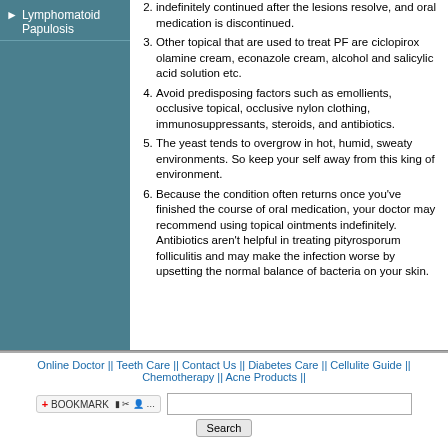▶ Lymphomatoid Papulosis
indefinitely continued after the lesions resolve, and oral medication is discontinued.
Other topical that are used to treat PF are ciclopirox olamine cream, econazole cream, alcohol and salicylic acid solution etc.
Avoid predisposing factors such as emollients, occlusive topical, occlusive nylon clothing, immunosuppressants, steroids, and antibiotics.
The yeast tends to overgrow in hot, humid, sweaty environments. So keep your self away from this king of environment.
Because the condition often returns once you've finished the course of oral medication, your doctor may recommend using topical ointments indefinitely. Antibiotics aren't helpful in treating pityrosporum folliculitis and may make the infection worse by upsetting the normal balance of bacteria on your skin.
Online Doctor || Teeth Care || Contact Us || Diabetes Care || Cellulite Guide || Chemotherapy || Acne Products ||